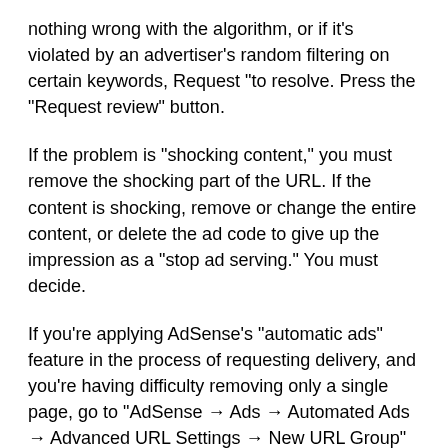nothing wrong with the algorithm, or if it's violated by an advertiser's random filtering on certain keywords, Request "to resolve. Press the "Request review" button.
If the problem is "shocking content," you must remove the shocking part of the URL. If the content is shocking, remove or change the entire content, or delete the ad code to give up the impression as a "stop ad serving." You must decide.
If you're applying AdSense's "automatic ads" feature in the process of requesting delivery, and you're having difficulty removing only a single page, go to "AdSense → Ads → Automated Ads → Advanced URL Settings → New URL Group" You can fix this by creating a URL group, selecting or adding pages where you want to stop showing ads, and leaving all ad formats unselected.